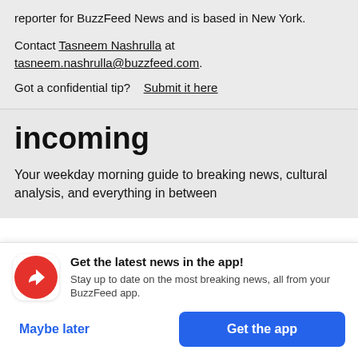reporter for BuzzFeed News and is based in New York.
Contact Tasneem Nashrulla at tasneem.nashrulla@buzzfeed.com.
Got a confidential tip?    Submit it here
incoming
Your weekday morning guide to breaking news, cultural analysis, and everything in between
Get the latest news in the app! Stay up to date on the most breaking news, all from your BuzzFeed app.
Maybe later
Get the app